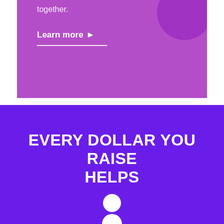[Figure (photo): Purple/pink toned banner image with text 'together.' and a 'Learn more' link with arrow, white underline beneath it. A purple circular object is partially visible in the upper right corner.]
EVERY DOLLAR YOU RAISE HELPS
[Figure (illustration): Person icon (white circle head and rounded body shape) at the bottom center of the purple section.]